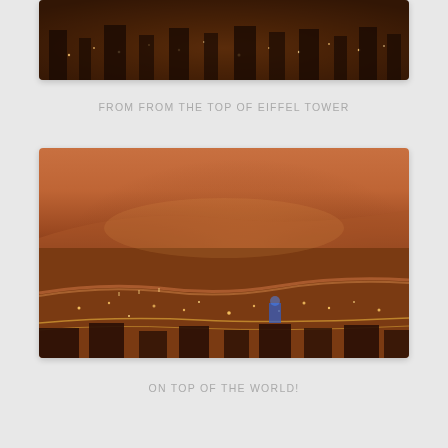[Figure (photo): Aerial night view of Paris from top of Eiffel Tower, dark orange/brown tones showing city lights]
FROM FROM THE TOP OF EIFFEL TOWER
[Figure (photo): Wide aerial view of Paris at night from top of Eiffel Tower, orange-tinted sky with city lights and the Seine river visible]
ON TOP OF THE WORLD!